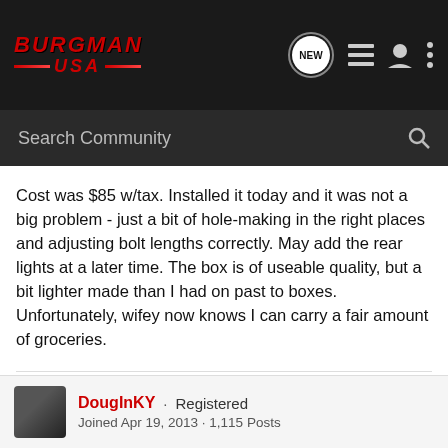[Figure (screenshot): Burgman USA forum navigation bar with logo, NEW chat bubble, list icon, user icon, and more options icon]
[Figure (screenshot): Search Community search bar with magnifying glass icon on dark background]
Cost was $85 w/tax. Installed it today and it was not a big problem - just a bit of hole-making in the right places and adjusting bolt lengths correctly. May add the rear lights at a later time. The box is of useable quality, but a bit lighter made than I had on past to boxes. Unfortunately, wifey now knows I can carry a fair amount of groceries.
Just because you get older doesn't mean you can't ride; as a matter of fact, riding is easier than walking.
DougInKY · Registered Joined Apr 19, 2013 · 1,115 Posts